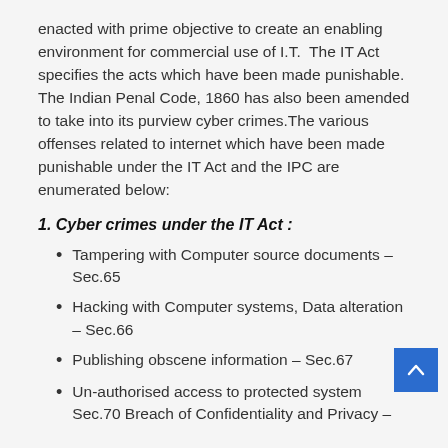enacted with prime objective to create an enabling environment for commercial use of I.T.  The IT Act specifies the acts which have been made punishable. The Indian Penal Code, 1860 has also been amended to take into its purview cyber crimes.The various offenses related to internet which have been made punishable under the IT Act and the IPC are enumerated below:
1. Cyber crimes under the IT Act :
Tampering with Computer source documents – Sec.65
Hacking with Computer systems, Data alteration – Sec.66
Publishing obscene information – Sec.67
Un-authorised access to protected system Sec.70 Breach of Confidentiality and Privacy –